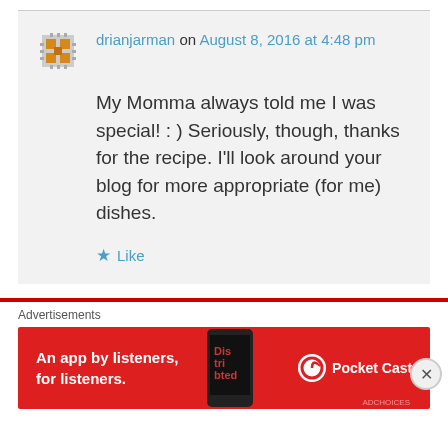drianjarman on August 8, 2016 at 4:48 pm
My Momma always told me I was special! : ) Seriously, though, thanks for the recipe. I'll look around your blog for more appropriate (for me) dishes.
Like
Advertisements
[Figure (other): Red Pocket Casts advertisement banner showing 'An app by listeners, for listeners.' with a phone image and Pocket Casts logo on red background]